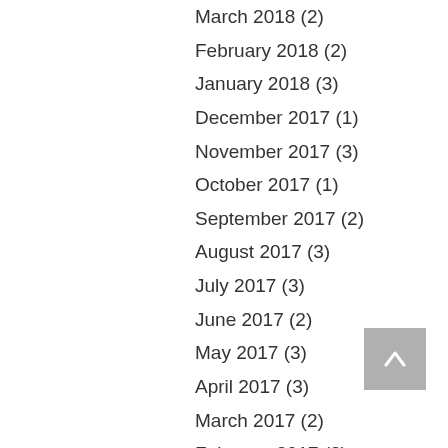March 2018 (2)
February 2018 (2)
January 2018 (3)
December 2017 (1)
November 2017 (3)
October 2017 (1)
September 2017 (2)
August 2017 (3)
July 2017 (3)
June 2017 (2)
May 2017 (3)
April 2017 (3)
March 2017 (2)
February 2017 (3)
January 2017 (3)
December 2016 (1)
October 2016 (1)
August 2016 (1)
July 2016 (1)